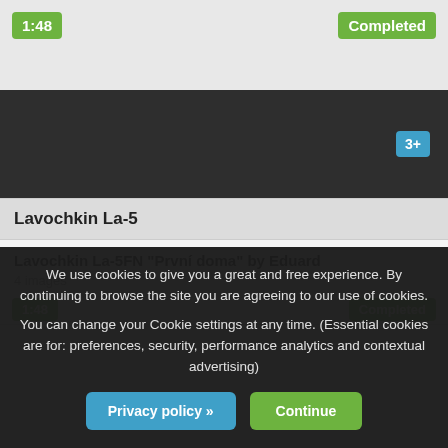[Figure (screenshot): Top section with light gray background showing a green '1:48' badge on the left and a green 'Completed' badge on the right]
[Figure (screenshot): Dark section with a blue '3+' badge on the right side]
Lavochkin La-5
Lavochkin La-5FN "První doma" by Eduard
4 images
We use cookies to give you a great and free experience. By continuing to browse the site you are agreeing to our use of cookies.

You can change your Cookie settings at any time. (Essential cookies are for: preferences, security, performance analytics and contextual advertising)
Privacy policy »
Continue